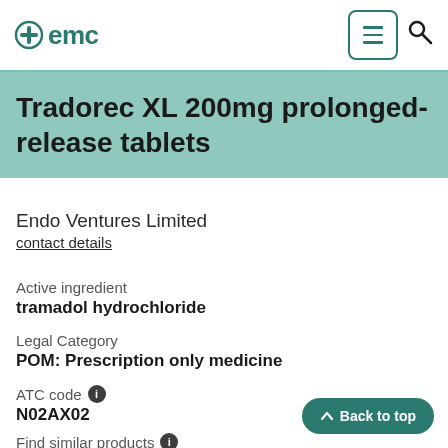emc
Tradorec XL 200mg prolonged-release tablets
Endo Ventures Limited
contact details
Active ingredient
tramadol hydrochloride
Legal Category
POM: Prescription only medicine
ATC code
N02AX02
Find similar products